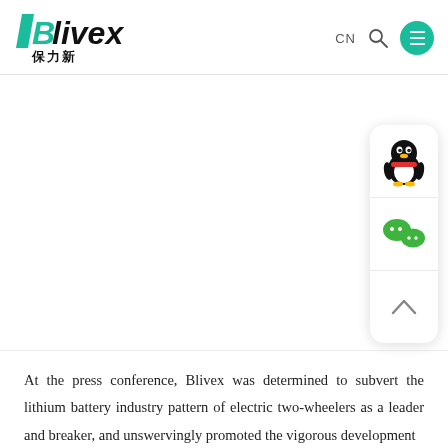[Figure (logo): Blivex 保力新 company logo with teal/green B slash mark and italic bold text]
CN  🔍  ☰
[Figure (other): White blank content area with social media sidebar panel containing QQ penguin icon, WeChat icon, and an upward arrow chevron button]
At the press conference, Blivex was determined to subvert the lithium battery industry pattern of electric two-wheelers as a leader and breaker, and unswervingly promoted the vigorous development